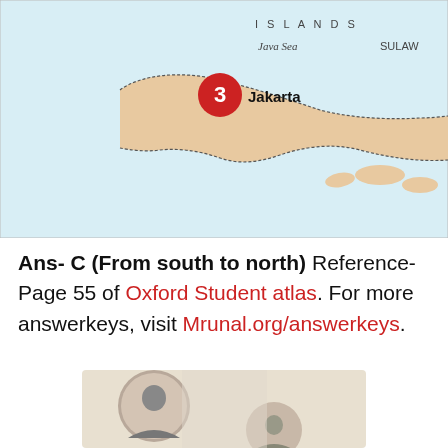[Figure (map): Map showing Indonesia region with Java Sea, SULAW label, Jakarta marked with red circle numbered 3, islands shown in beige/tan color on light blue sea background]
Ans- C (From south to north) Reference- Page 55 of Oxford Student atlas. For more answerkeys, visit Mrunal.org/answerkeys.
[Figure (photo): Historical black and white photographs of people in circular portrait frames]